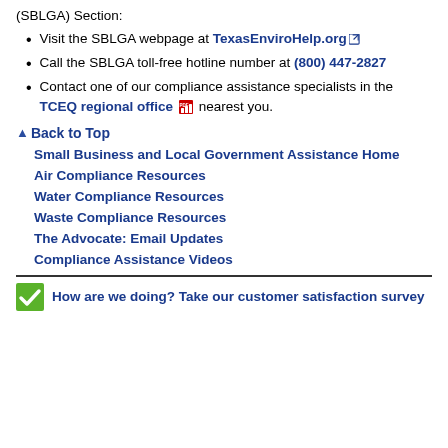(SBLGA) Section:
Visit the SBLGA webpage at TexasEnviroHelp.org
Call the SBLGA toll-free hotline number at (800) 447-2827
Contact one of our compliance assistance specialists in the TCEQ regional office nearest you.
Back to Top
Small Business and Local Government Assistance Home
Air Compliance Resources
Water Compliance Resources
Waste Compliance Resources
The Advocate: Email Updates
Compliance Assistance Videos
How are we doing? Take our customer satisfaction survey